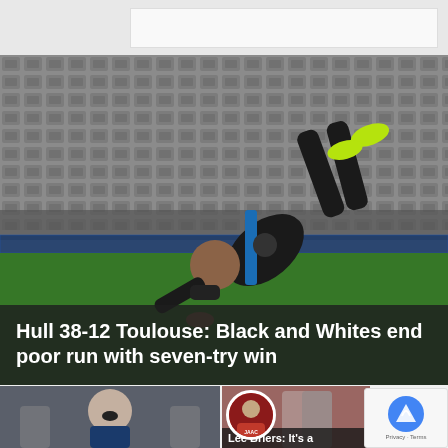[Figure (photo): Rugby league player in black kit diving/scoring a try at a stadium with empty grey seats in the background. Yellow boots visible.]
Hull 38-12 Toulouse: Black and Whites end poor run with seven-try win
[Figure (photo): Bottom left: rugby player celebrating with mouth open, wearing blue kit]
[Figure (photo): Bottom right: rugby action photo with Lee Briers avatar/portrait circle overlay and partial headline]
Lee Briers: It's a